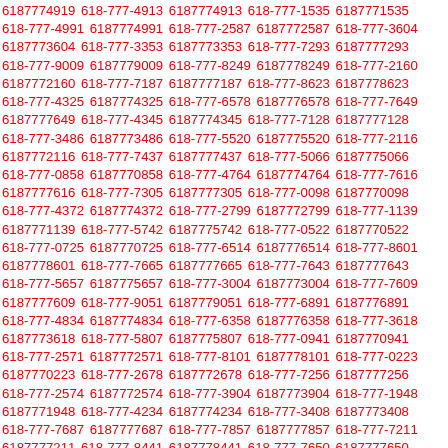6187774919 618-777-4913 6187774913 618-777-1535 6187771535 618-777-4991 6187774991 618-777-2587 6187772587 618-777-3604 6187773604 618-777-3353 6187773353 618-777-7293 6187777293 618-777-9009 6187779009 618-777-8249 6187778249 618-777-2160 6187772160 618-777-7187 6187777187 618-777-8623 6187778623 618-777-4325 6187774325 618-777-6578 6187776578 618-777-7649 6187777649 618-777-4345 6187774345 618-777-7128 6187777128 618-777-3486 6187773486 618-777-5520 6187775520 618-777-2116 6187772116 618-777-7437 6187777437 618-777-5066 6187775066 618-777-0858 6187770858 618-777-4764 6187774764 618-777-7616 6187777616 618-777-7305 6187777305 618-777-0098 6187770098 618-777-4372 6187774372 618-777-2799 6187772799 618-777-1139 6187771139 618-777-5742 6187775742 618-777-0522 6187770522 618-777-0725 6187770725 618-777-6514 6187776514 618-777-8601 6187778601 618-777-7665 6187777665 618-777-7643 6187777643 618-777-5657 6187775657 618-777-3004 6187773004 618-777-7609 6187777609 618-777-9051 6187779051 618-777-6891 6187776891 618-777-4834 6187774834 618-777-6358 6187776358 618-777-3618 6187773618 618-777-5807 6187775807 618-777-0941 6187770941 618-777-2571 6187772571 618-777-8101 6187778101 618-777-0223 6187770223 618-777-2678 6187772678 618-777-7256 6187777256 618-777-2574 6187772574 618-777-3904 6187773904 618-777-1948 6187771948 618-777-4234 6187774234 618-777-3408 6187773408 618-777-7687 6187777687 618-777-7857 6187777857 618-777-7211 6187777211 618-777-8441 6187778441 618-777-7650 6187777650